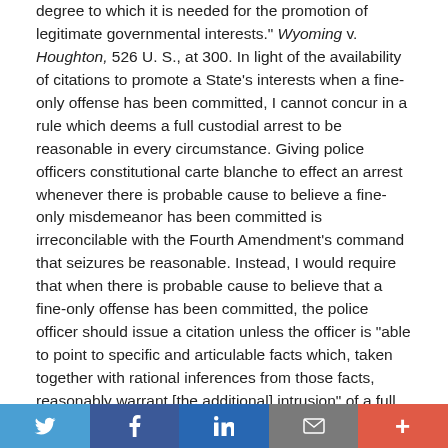degree to which it is needed for the promotion of legitimate governmental interests." Wyoming v. Houghton, 526 U. S., at 300. In light of the availability of citations to promote a State's interests when a fine-only offense has been committed, I cannot concur in a rule which deems a full custodial arrest to be reasonable in every circumstance. Giving police officers constitutional carte blanche to effect an arrest whenever there is probable cause to believe a fine-only misdemeanor has been committed is irreconcilable with the Fourth Amendment's command that seizures be reasonable. Instead, I would require that when there is probable cause to believe that a fine-only offense has been committed, the police officer should issue a citation unless the officer is "able to point to specific and articulable facts which, taken together with rational inferences from those facts, reasonably warrant [the additional] intrusion" of a full custodial arrest. Terry v. Ohio, 392 U. S., at 21.
[Figure (other): Social sharing bar with Twitter, Facebook, LinkedIn, Email, and More buttons]